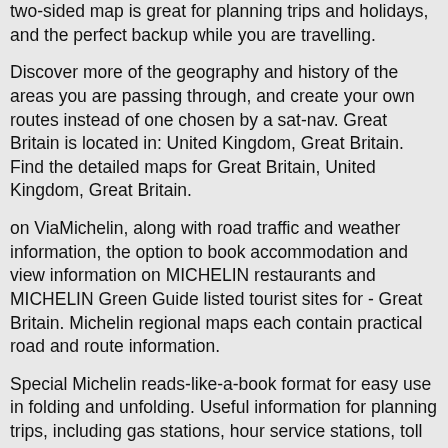two-sided map is great for planning trips and holidays, and the perfect backup while you are travelling.
Discover more of the geography and history of the areas you are passing through, and create your own routes instead of one chosen by a sat-nav. Great Britain is located in: United Kingdom, Great Britain. Find the detailed maps for Great Britain, United Kingdom, Great Britain.
on ViaMichelin, along with road traffic and weather information, the option to book accommodation and view information on MICHELIN restaurants and MICHELIN Green Guide listed tourist sites for - Great Britain. Michelin regional maps each contain practical road and route information.
Special Michelin reads-like-a-book format for easy use in folding and unfolding. Useful information for planning trips, including gas stations, hour service stations, toll gates, rest areas and service plazas.
Clear, Brand: Michelin Travel Publications.Maps: Document Type: Book: All Authors / Contributors: John Bartholomew and Son. OCLC Number: Notes: Maps by John Bartholomew & Son, Edinburgh.
Description: 64 pages, 96 pages of color maps 29 cm: Other